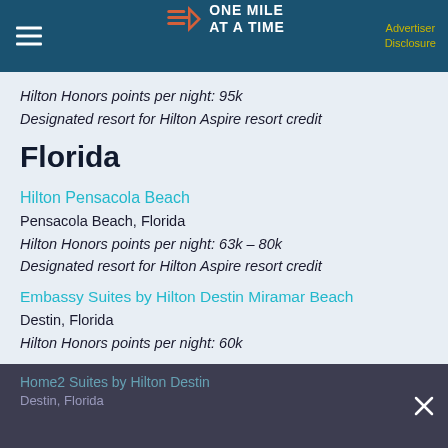ONE MILE AT A TIME | Advertiser Disclosure
Hilton Honors points per night: 95k
Designated resort for Hilton Aspire resort credit
Florida
Hilton Pensacola Beach
Pensacola Beach, Florida
Hilton Honors points per night: 63k – 80k
Designated resort for Hilton Aspire resort credit
Embassy Suites by Hilton Destin Miramar Beach
Destin, Florida
Hilton Honors points per night: 60k
Home2 Suites by Hilton Destin
Destin, Florida